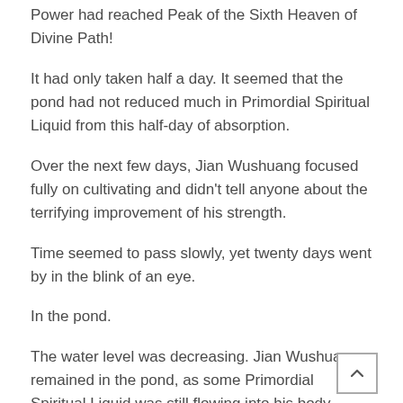Power had reached Peak of the Sixth Heaven of Divine Path!
It had only taken half a day. It seemed that the pond had not reduced much in Primordial Spiritual Liquid from this half-day of absorption.
Over the next few days, Jian Wushuang focused fully on cultivating and didn't tell anyone about the terrifying improvement of his strength.
Time seemed to pass slowly, yet twenty days went by in the blink of an eye.
In the pond.
The water level was decreasing. Jian Wushuang remained in the pond, as some Primordial Spiritual Liquid was still flowing into his body. Finally, as the last